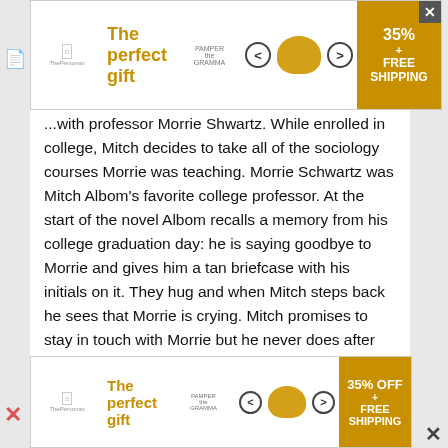[Figure (infographic): Top advertisement banner: 'The perfect gift' in gold text with bowl image, navigation arrows, and 35% OFF + FREE SHIPPING offer badge with close button]
...with professor Morrie Shwartz. While enrolled in college, Mitch decides to take all of the sociology courses Morrie was teaching. Morrie Schwartz was Mitch Albom's favorite college professor. At the start of the novel Albom recalls a memory from his college graduation day: he is saying goodbye to Morrie and gives him a tan briefcase with his initials on it. They hug and when Mitch steps back he sees that Morrie is crying. Mitch promises to stay in touch with Morrie but he never does after college. Since his graduation, Mitch has become a newspaper reporter and husband. He leads a very fast paced life and is constantly working and traveling. He has become so engrossed in his work that it consumes his life. The novel recommences about sixteen years after Mitch's
[Figure (infographic): Bottom advertisement banner: 'The perfect gift' in gold text with bowl image, navigation arrows, and 35% OFF + FREE SHIPPING offer badge]